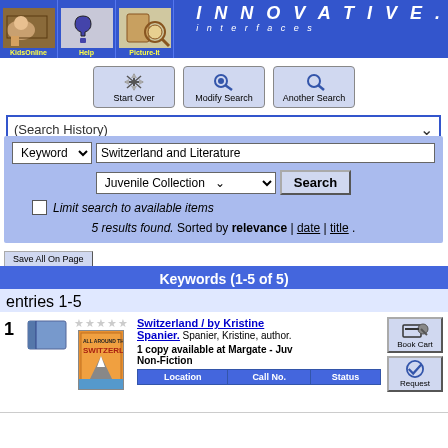[Figure (screenshot): Library catalog website header with KidsOnline, Help, Picture-It navigation buttons and Innovative Interfaces logo]
[Figure (screenshot): Search toolbar with Start Over, Modify Search, Another Search buttons]
(Search History)
Keyword  Switzerland and Literature  Juvenile Collection  Search  Limit search to available items
5 results found. Sorted by relevance | date | title .
Save All On Page
Keywords (1-5 of 5)
entries 1-5
1
Switzerland / by Kristine Spanier. Spanier, Kristine, author. 1 copy available at Margate - Juv Non-Fiction
| Location | Call No. | Status |
| --- | --- | --- |